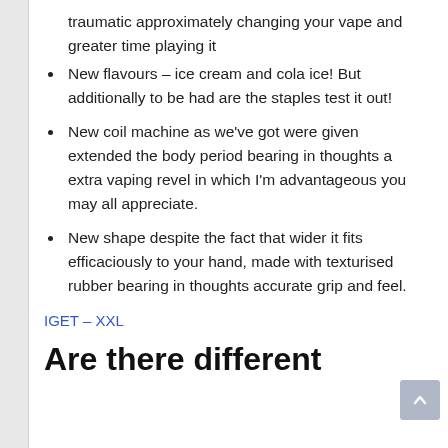traumatic approximately changing your vape and greater time playing it
New flavours – ice cream and cola ice! But additionally to be had are the staples test it out!
New coil machine as we've got were given extended the body period bearing in thoughts a extra vaping revel in which I'm advantageous you may all appreciate.
New shape despite the fact that wider it fits efficaciously to your hand, made with texturised rubber bearing in thoughts accurate grip and feel.
IGET – XXL
Are there different